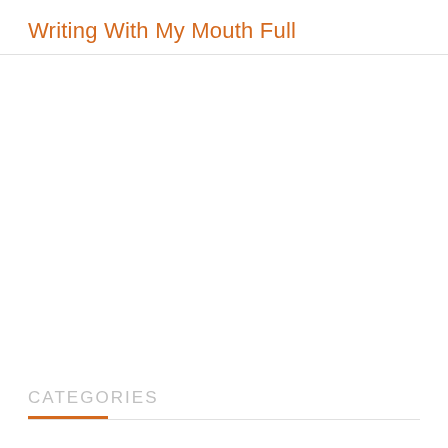Writing With My Mouth Full
CATEGORIES